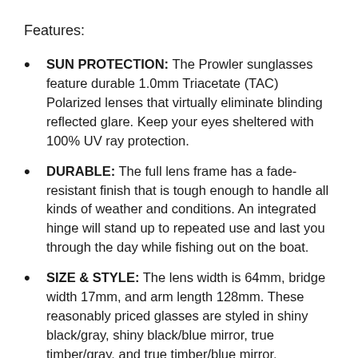Features:
SUN PROTECTION: The Prowler sunglasses feature durable 1.0mm Triacetate (TAC) Polarized lenses that virtually eliminate blinding reflected glare. Keep your eyes sheltered with 100% UV ray protection.
DURABLE: The full lens frame has a fade-resistant finish that is tough enough to handle all kinds of weather and conditions. An integrated hinge will stand up to repeated use and last you through the day while fishing out on the boat.
SIZE & STYLE: The lens width is 64mm, bridge width 17mm, and arm length 128mm. These reasonably priced glasses are styled in shiny black/gray, shiny black/blue mirror, true timber/gray, and true timber/blue mirror.
ORIGINAL SERIES: The new sunglasses are designed with...